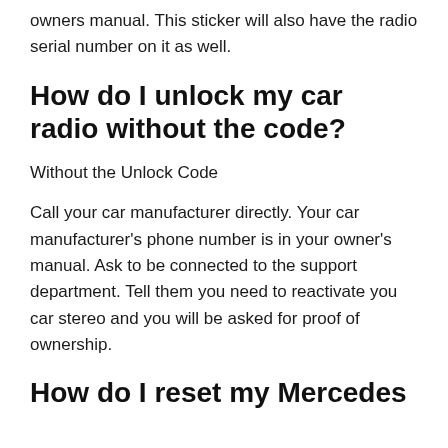owners manual. This sticker will also have the radio serial number on it as well.
How do I unlock my car radio without the code?
Without the Unlock Code
Call your car manufacturer directly. Your car manufacturer's phone number is in your owner's manual. Ask to be connected to the support department. Tell them you need to reactivate you car stereo and you will be asked for proof of ownership.
How do I reset my Mercedes